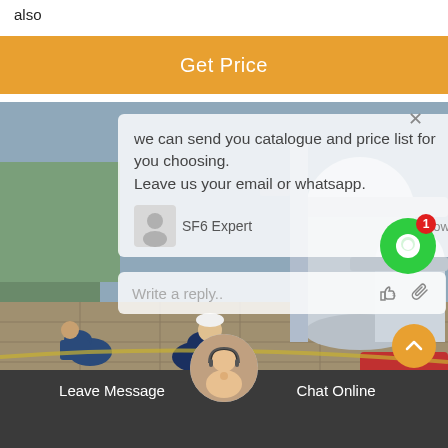also
Get Price
[Figure (screenshot): Industrial equipment photo showing large cylindrical SF6 gas equipment and workers in overalls, overlaid with a live chat popup. The chat popup shows a message: 'we can send you catalogue and price list for you choosing. Leave us your email or whatsapp.' with agent name 'SF6 Expert' and timestamp 'just now'. A reply input field shows 'Write a reply..'. A green circular chat icon with badge '1' appears on the right. An orange scroll-to-top button is visible at bottom right.]
Leave Message   Chat Online
emt sf6 Management in Portugal